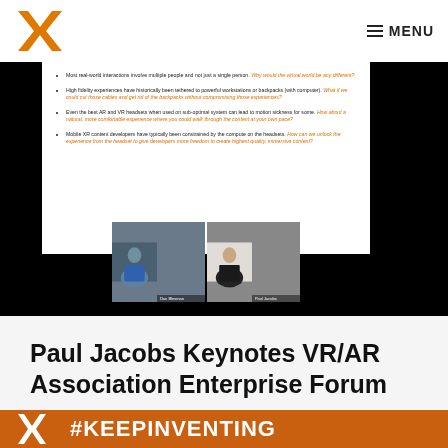MENU
[Figure (screenshot): Screenshot of a video call/webinar showing a presentation slide with bullet points about VR/AR interactions, alongside two video participants labeled 'Dan Blesman' and 'Paul Jacobs']
Paul Jacobs Keynotes VR/AR Association Enterprise Forum
[Figure (photo): Orange background with white X logo and '#KEEPINVENTING' text]